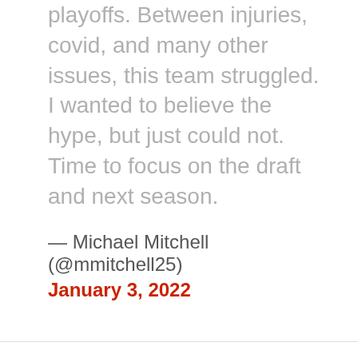playoffs. Between injuries, covid, and many other issues, this team struggled. I wanted to believe the hype, but just could not. Time to focus on the draft and next season.
— Michael Mitchell (@mmitchell25) January 3, 2022